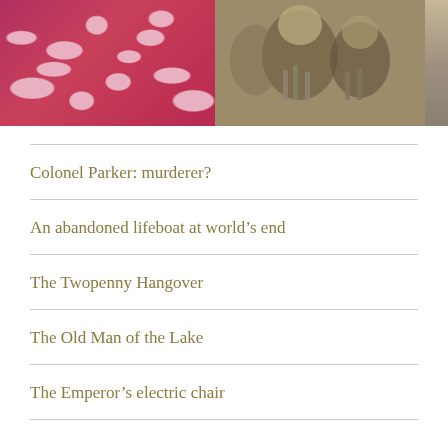[Figure (photo): Two photos side by side: left shows a table with pink/red patterned tablecloth and ornate decorative objects; right is a sepia-toned photo of a person speaking at microphones.]
Colonel Parker: murderer?
An abandoned lifeboat at world’s end
The Twopenny Hangover
The Old Man of the Lake
The Emperor’s electric chair